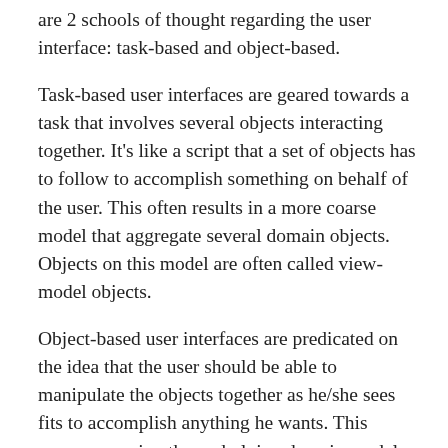are 2 schools of thought regarding the user interface: task-based and object-based.
Task-based user interfaces are geared towards a task that involves several objects interacting together. It's like a script that a set of objects has to follow to accomplish something on behalf of the user. This often results in a more coarse model that aggregate several domain objects. Objects on this model are often called view-model objects.
Object-based user interfaces are predicated on the idea that the user should be able to manipulate the objects together as he/she sees fits to accomplish anything he wants. This means exposing the underlying domain model directly to the user. Patterns and frameworks such as naked objects are examples of this idea.